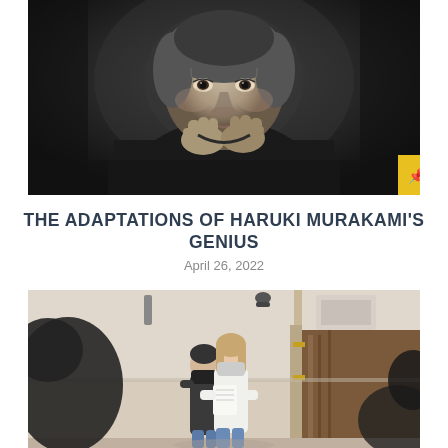[Figure (photo): Black and white portrait photograph of Haruki Murakami, an elderly Japanese man with gray hair, looking contemplative with his hands clasped near his chin, wearing a dark jacket, against a dark background.]
THE ADAPTATIONS OF HARUKI MURAKAMI'S GENIUS
April 26, 2022
[Figure (photo): Color photograph of two people standing in a room, wearing masks, one holding papers, appearing to rehearse or perform something in what looks like a classroom or rehearsal space with beige and brown walls.]